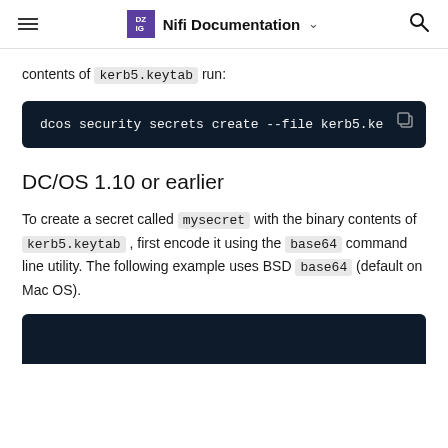Nifi Documentation
contents of kerb5.keytab run:
[Figure (screenshot): Dark code block showing: dcos security secrets create --file kerb5.ke (truncated)]
DC/OS 1.10 or earlier
To create a secret called mysecret with the binary contents of kerb5.keytab , first encode it using the base64 command line utility. The following example uses BSD base64 (default on Mac OS).
[Figure (screenshot): Dark code block beginning (truncated at bottom of page)]